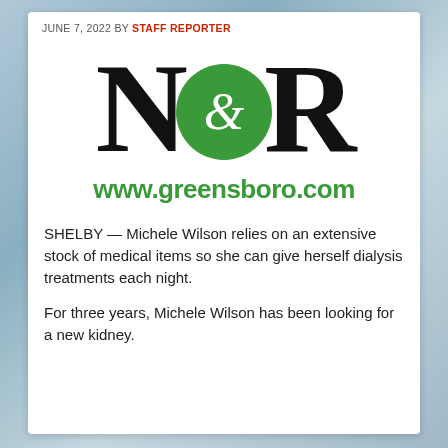JUNE 7, 2022 BY STAFF REPORTER
[Figure (logo): N&R logo with large black N and R letters flanking a green circle containing a white ampersand, and the URL www.greensboro.com in green below]
SHELBY — Michele Wilson relies on an extensive stock of medical items so she can give herself dialysis treatments each night.
For three years, Michele Wilson has been looking for a new kidney.